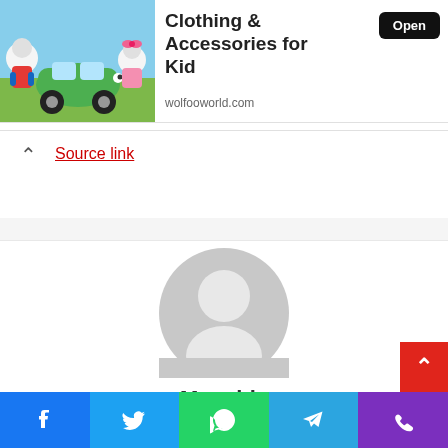[Figure (screenshot): Mobile app advertisement banner showing cartoon characters (animals) with a green car, sky blue background. Ad title: 'Clothing & Accessories for Kid'. Button: 'Open'. URL: wolfooworld.com]
Source link
[Figure (illustration): Generic user avatar placeholder icon (grey circle with person silhouette)]
Manshia
[Figure (screenshot): Social sharing bar at the bottom with Facebook, Twitter, WhatsApp, Telegram, and phone/viber buttons. Red scroll-to-top button on the right.]